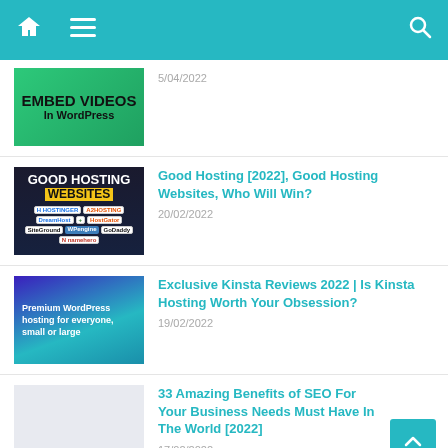Home | Menu | Search
[Figure (screenshot): Thumbnail showing 'EMBED VIDEOS In WordPress' on green background]
Good Hosting [2022], Good Hosting Websites, Who Will Win?
20/02/2022
[Figure (screenshot): Thumbnail showing 'GOOD HOSTING WEBSITES' with hosting provider logos including Hostinger, A2Hosting, DreamHost, HostGator, SiteGround, WPEngine, GoDaddy, Namehero]
Exclusive Kinsta Reviews 2022 | Is Kinsta Hosting Worth Your Obsession?
19/02/2022
[Figure (screenshot): Thumbnail showing Kinsta premium WordPress hosting page with purple/teal gradient]
33 Amazing Benefits of SEO For Your Business Needs Must Have In The World [2022]
17/02/2022